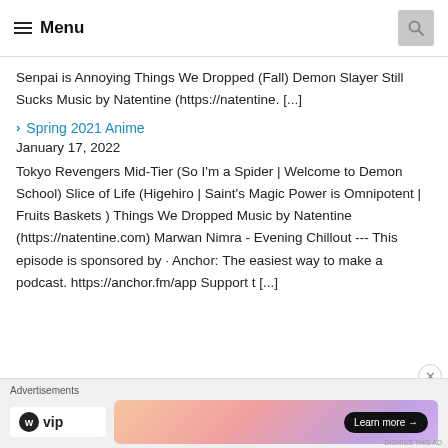Menu
Senpai is Annoying Things We Dropped (Fall) Demon Slayer Still Sucks Music by Natentine (https://natentine. [...]
Spring 2021 Anime
January 17, 2022
Tokyo Revengers Mid-Tier (So I'm a Spider | Welcome to Demon School) Slice of Life (Higehiro | Saint's Magic Power is Omnipotent | Fruits Baskets ) Things We Dropped Music by Natentine (https://natentine.com) Marwan Nimra - Evening Chillout --- This episode is sponsored by · Anchor: The easiest way to make a podcast. https://anchor.fm/app Support t [...]
Advertisements